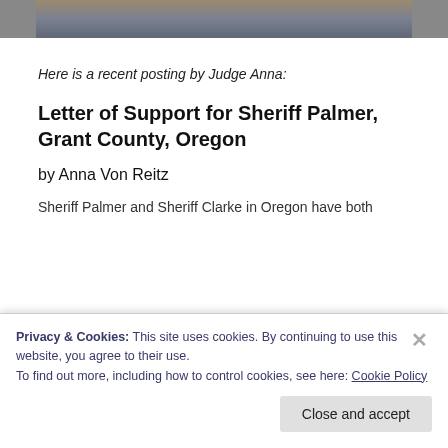[Figure (photo): Partial photo strip showing a car and outdoor scene, cropped at top of page]
Here is a recent posting by Judge Anna:
Letter of Support for Sheriff Palmer, Grant County, Oregon
by Anna Von Reitz
Sheriff Palmer and Sheriff Clarke in Oregon have both
Privacy & Cookies: This site uses cookies. By continuing to use this website, you agree to their use.
To find out more, including how to control cookies, see here: Cookie Policy